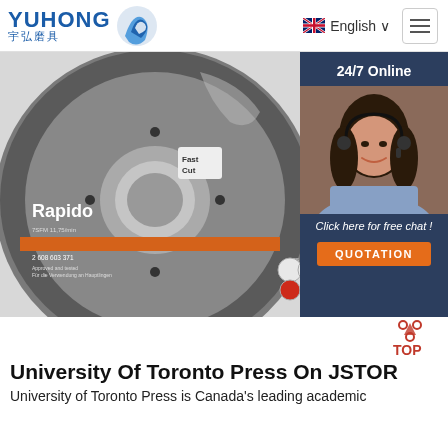YUHONG 宇弘磨具 | English | Navigation
[Figure (photo): Close-up photo of a Rapido grinding/cutting disc with 'Fast Cut' label, product code 2 608 603 371, WA 60 T BF specification markings, with safety symbols, overlaid with a 24/7 Online customer service chat box showing a female operator with headset, and a QUOTATION button]
University Of Toronto Press On JSTOR
University of Toronto Press is Canada's leading academic